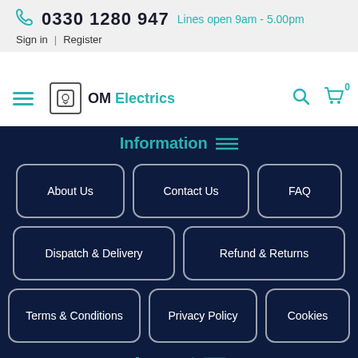0330 1280 947  Lines open 9am - 5.00pm  Sign in | Register
[Figure (screenshot): OM Electrics website navigation bar with hamburger menu, logo, search icon, and cart icon showing 0 items]
Information
About Us
Contact Us
FAQ
Dispatch & Delivery
Refund & Returns
Terms & Conditions
Privacy Policy
Cookies
Account
Sign in
Register
⚡ Fast Order
Newsletter